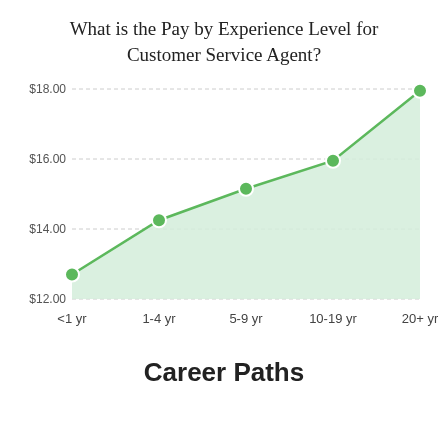What is the Pay by Experience Level for Customer Service Agent?
[Figure (area-chart): What is the Pay by Experience Level for Customer Service Agent?]
Career Paths